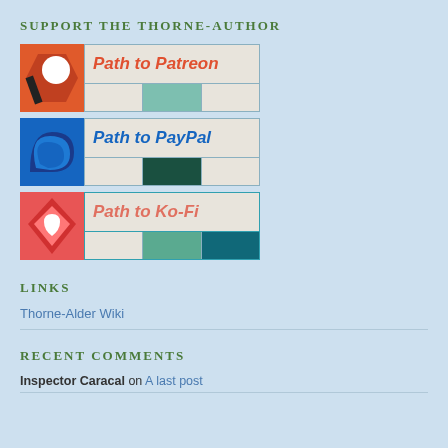SUPPORT THE THORNE-AUTHOR
[Figure (illustration): Path to Patreon banner with Patreon logo icon on left and styled grid text area reading 'Path to Patreon']
[Figure (illustration): Path to PayPal banner with PayPal logo icon on left and styled grid text area reading 'Path to PayPal']
[Figure (illustration): Path to Ko-Fi banner with Ko-Fi logo icon on left and styled grid text area reading 'Path to Ko-Fi']
LINKS
Thorne-Alder Wiki
RECENT COMMENTS
Inspector Caracal on A last post